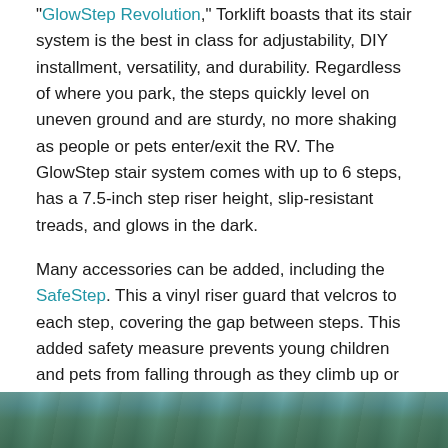“GlowStep Revolution,” Torklift boasts that its stair system is the best in class for adjustability, DIY installment, versatility, and durability. Regardless of where you park, the steps quickly level on uneven ground and are sturdy, no more shaking as people or pets enter/exit the RV. The GlowStep stair system comes with up to 6 steps, has a 7.5-inch step riser height, slip-resistant treads, and glows in the dark.
Many accessories can be added, including the SafeStep. This a vinyl riser guard that velcros to each step, covering the gap between steps. This added safety measure prevents young children and pets from falling through as they climb up or down. The guards can be left on when the steps are folded up and removed for cleaning.
[Figure (photo): Bottom portion of an outdoor photo, partially visible, showing green foliage and blue-green tones suggesting an outdoor RV camping scene.]